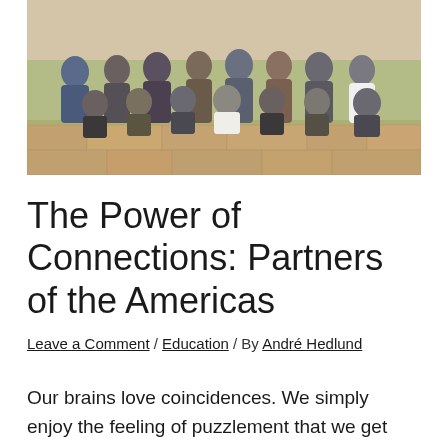[Figure (photo): Group photo of approximately 10-12 men posing together outdoors on a stone/tile surface, some kneeling in front, others standing behind]
The Power of Connections: Partners of the Americas
Leave a Comment / Education / By André Hedlund
Our brains love coincidences. We simply enjoy the feeling of puzzlement that we get when two apparently unrelated things connect in strange, inexplicable ways. Today is one of those rare days filled with delightful